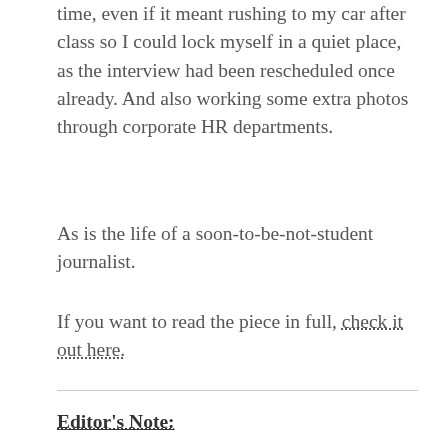time, even if it meant rushing to my car after class so I could lock myself in a quiet place, as the interview had been rescheduled once already. And also working some extra photos through corporate HR departments.
As is the life of a soon-to-be-not-student journalist.
If you want to read the piece in full, check it out here.
Editor's Note:
Full disclosure, the way I got an in for this interview was because my Dad passed my interest along as an employee at Fandango.
He had nothing to do with the process beyond that introduction. The closest he came to being involved was when Yanover suggested I sound like the old man over the